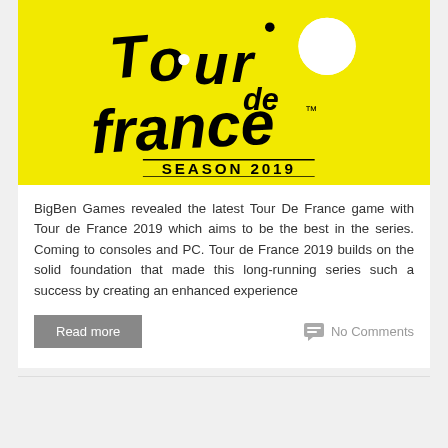[Figure (logo): Tour de France Season 2019 logo on yellow background with cyclist silhouette]
BigBen Games revealed the latest Tour De France game with Tour de France 2019 which aims to be the best in the series. Coming to consoles and PC. Tour de France 2019 builds on the solid foundation that made this long-running series such a success by creating an enhanced experience
Read more
No Comments